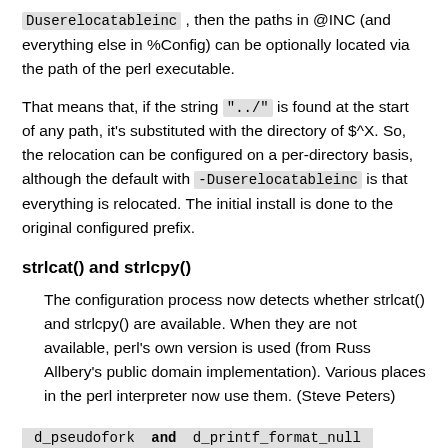Duserelocatableinc, then the paths in @INC (and everything else in %Config) can be optionally located via the path of the perl executable.
That means that, if the string "../" is found at the start of any path, it's substituted with the directory of $^X. So, the relocation can be configured on a per-directory basis, although the default with -Duserelocatableinc is that everything is relocated. The initial install is done to the original configured prefix.
strlcat() and strlcpy()
The configuration process now detects whether strlcat() and strlcpy() are available. When they are not available, perl's own version is used (from Russ Allbery's public domain implementation). Various places in the perl interpreter now use them. (Steve Peters)
d_pseudofork and d_printf_format_null